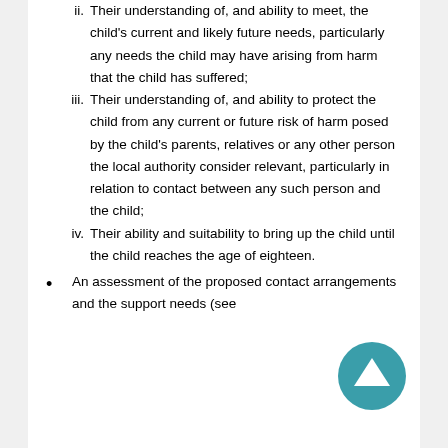ii. Their understanding of, and ability to meet, the child's current and likely future needs, particularly any needs the child may have arising from harm that the child has suffered;
iii. Their understanding of, and ability to protect the child from any current or future risk of harm posed by the child's parents, relatives or any other person the local authority consider relevant, particularly in relation to contact between any such person and the child;
iv. Their ability and suitability to bring up the child until the child reaches the age of eighteen.
An assessment of the proposed contact arrangements and the support needs (see
[Figure (illustration): Teal circular button with upward-pointing arrow icon, used as a scroll-to-top navigation element.]